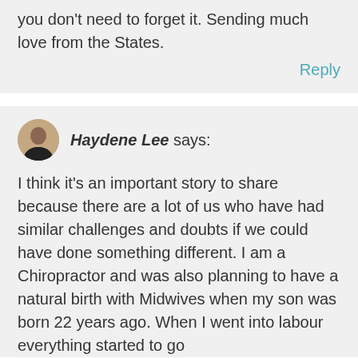you don't need to forget it. Sending much love from the States.
Reply
Haydene Lee says:
I think it's an important story to share because there are a lot of us who have had similar challenges and doubts if we could have done something different. I am a Chiropractor and was also planning to have a natural birth with Midwives when my son was born 22 years ago. When I went into labour everything started to go